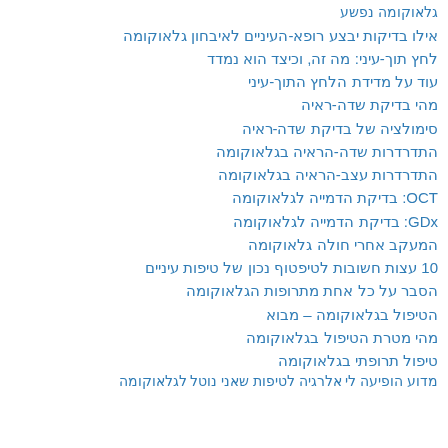גלאוקומה נפשע
אילו בדיקות יבצע רופא-העיניים לאיבחון גלאוקומה
לחץ תוך-עיני: מה זה, וכיצד הוא נמדד
עוד על מדידת הלחץ התוך-עיני
מהי בדיקת שדה-ראיה
סימולציה של בדיקת שדה-ראיה
התדרדרות שדה-הראיה בגלאוקומה
התדרדרות עצב-הראיה בגלאוקומה
OCT: בדיקת הדמייה לגלאוקומה
GDx: בדיקת הדמייה לגלאוקומה
המעקב אחרי חולה גלאוקומה
10 עצות חשובות לטיפטוף נכון של טיפות עיניים
הסבר על כל אחת מתרופות הגלאוקומה
הטיפול בגלאוקומה – מבוא
מהי מטרת הטיפול בגלאוקומה
טיפול תרופתי בגלאוקומה
מדוע הופיעה לי אלרגיה לטיפות שאני נוטל לגלאוקומה